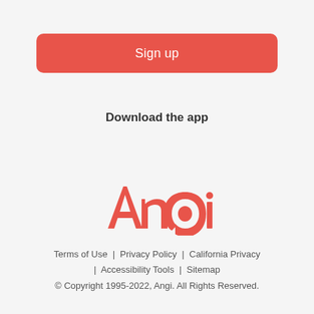Sign up
Download the app
[Figure (logo): Angi logo in red/coral color with stylized lettering]
Terms of Use | Privacy Policy | California Privacy | Accessibility Tools | Sitemap
© Copyright 1995-2022, Angi. All Rights Reserved.